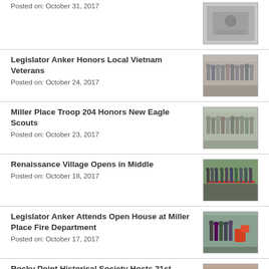Posted on: October 31, 2017
Legislator Anker Honors Local Vietnam Veterans
Posted on: October 24, 2017
Miller Place Troop 204 Honors New Eagle Scouts
Posted on: October 23, 2017
Renaissance Village Opens in Middle
Posted on: October 18, 2017
Legislator Anker Attends Open House at Miller Place Fire Department
Posted on: October 17, 2017
Rocky Point Historical Society Hosts 21st Annual Tea with Special Guest Abraham Lincoln